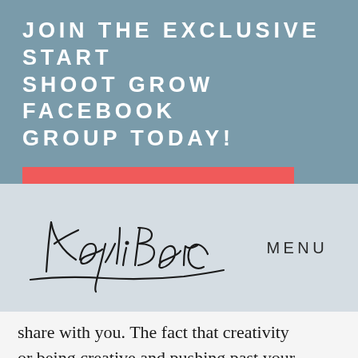JOIN THE EXCLUSIVE START SHOOT GROW FACEBOOK GROUP TODAY!
>>> CLICK HERE TO JOIN
[Figure (illustration): Kayli Barclay cursive signature in dark ink on light blue-grey background, with MENU text to the right]
share with you. The fact that creativity or being creative and pushing past your limitations as a creative is possible in